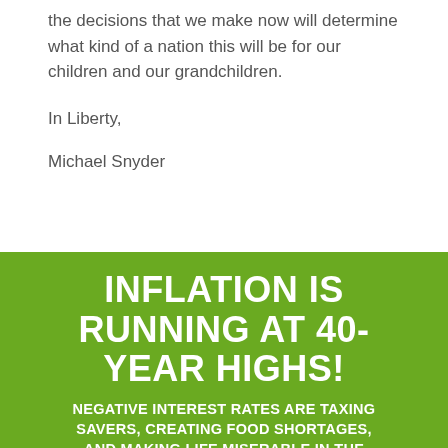the decisions that we make now will determine what kind of a nation this will be for our children and our grandchildren.
In Liberty,
Michael Snyder
[Figure (infographic): Green banner with white bold text reading: INFLATION IS RUNNING AT 40-YEAR HIGHS! NEGATIVE INTEREST RATES ARE TAXING SAVERS, CREATING FOOD SHORTAGES, AND MAKING LIFE MISERABLE IN THE...]